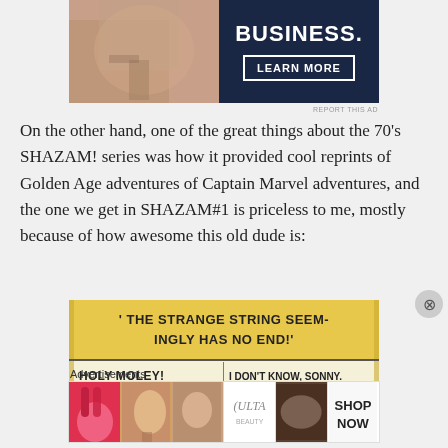[Figure (photo): Top advertisement banner with dark navy background showing 'BUSINESS.' text and 'LEARN MORE' button, alongside a photo of hands]
REPORT THIS AD
On the other hand, one of the great things about the 70's SHAZAM! series was how it provided cool reprints of Golden Age adventures of Captain Marvel adventures, and the one we get in SHAZAM#1 is priceless to me, mostly because of how awesome this old dude is:
[Figure (photo): Comic book panel with yellow background showing text: 'THE STRANGE STRING SEEM-INGLY HAS NO END!' and 'HOLY MOLEY! WHERE IS ALL' / 'I DON'T KNOW, SONNY. AND I DON'T CARE.']
Advertisements
[Figure (photo): Bottom advertisement strip for ULTA beauty products showing makeup-related images and 'SHOP NOW' button]